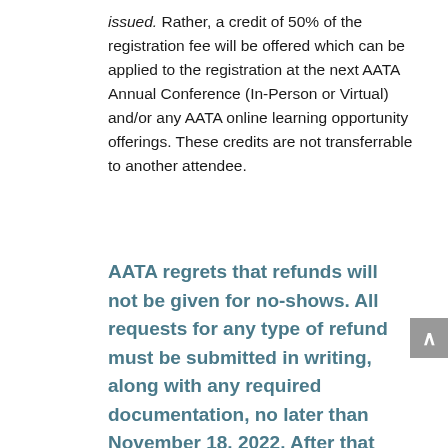issued. Rather, a credit of 50% of the registration fee will be offered which can be applied to the registration at the next AATA Annual Conference (In-Person or Virtual) and/or any AATA online learning opportunity offerings. These credits are not transferrable to another attendee.
AATA regrets that refunds will not be given for no-shows. All requests for any type of refund must be submitted in writing, along with any required documentation, no later than November 18, 2022. After that time, no refund considerations will be made.